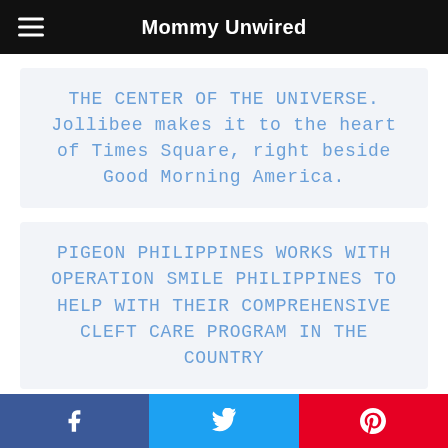Mommy Unwired
THE CENTER OF THE UNIVERSE. Jollibee makes it to the heart of Times Square, right beside Good Morning America.
PIGEON PHILIPPINES WORKS WITH OPERATION SMILE PHILIPPINES TO HELP WITH THEIR COMPREHENSIVE CLEFT CARE PROGRAM IN THE COUNTRY
Cookies help us deliver our services. By using